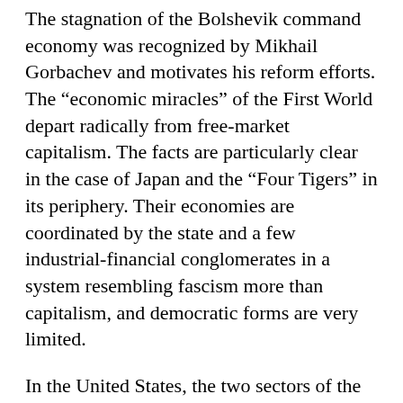The stagnation of the Bolshevik command economy was recognized by Mikhail Gorbachev and motivates his reform efforts. The “economic miracles” of the First World depart radically from free-market capitalism. The facts are particularly clear in the case of Japan and the “Four Tigers” in its periphery. Their economies are coordinated by the state and a few industrial-financial conglomerates in a system resembling fascism more than capitalism, and democratic forms are very limited.
In the United States, the two sectors of the economy that survive international competition are high-technology industry and capital-intensive agriculture. Both are heavily subsidized by the state. One primary purpose of the Pentagon system is to ensure that the public provides a guaranteed market for waste production and pays the costs of research and development, while profits accrue to the private sector. The scope extends to most of advanced technology. For this reason, business has always…